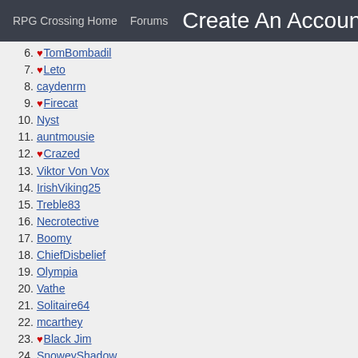RPG Crossing Home   Forums   Create An Account!
6. ♥ TomBombadil
7. ♥ Leto
8. caydenrm
9. ♥ Firecat
10. Nyst
11. auntmousie
12. ♥ Crazed
13. Viktor Von Vox
14. IrishViking25
15. Treble83
16. Necrotective
17. Boomy
18. ChiefDisbelief
19. Olympia
20. Vathe
21. Solitaire64
22. mcarthey
23. ♥ Black Jim
24. SnoweyShadow
25. KhamLuc
26. Tom the Bombadil
27. Sellus
28. ♥ Skryptik
29. ♥ Sadral
30. Tenebrous Shade
31. King Crusader
32. Scoops